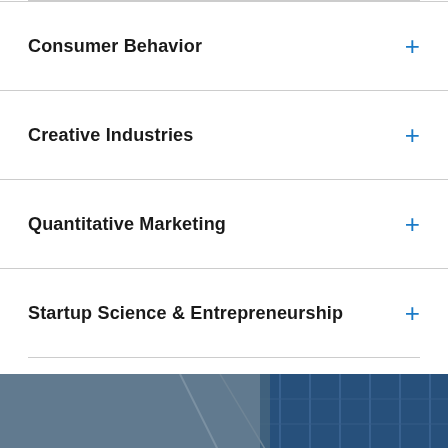Consumer Behavior
Creative Industries
Quantitative Marketing
Startup Science & Entrepreneurship
[Figure (photo): Exterior photo of a modern building with blue glass facade, with overlaid text 'Research Labs & Initiatives']